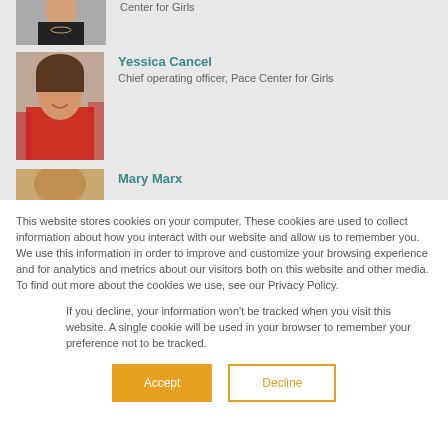[Figure (photo): Partial photo of a woman in black top, cropped at top]
Center for Girls
[Figure (photo): Photo of Yessica Cancel, woman in red jacket, smiling]
Yessica Cancel
Chief operating officer, Pace Center for Girls
[Figure (photo): Partial photo of Mary Marx, cropped at bottom]
Mary Marx
This website stores cookies on your computer. These cookies are used to collect information about how you interact with our website and allow us to remember you. We use this information in order to improve and customize your browsing experience and for analytics and metrics about our visitors both on this website and other media. To find out more about the cookies we use, see our Privacy Policy.
If you decline, your information won't be tracked when you visit this website. A single cookie will be used in your browser to remember your preference not to be tracked.
Accept
Decline